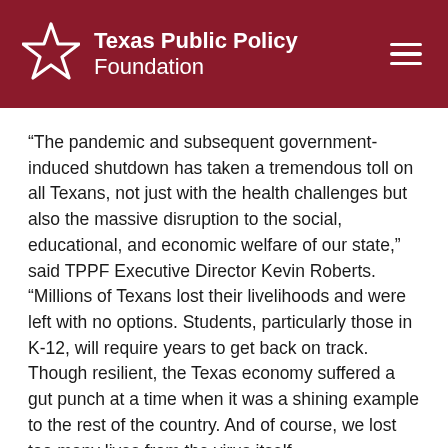Texas Public Policy Foundation
“The pandemic and subsequent government-induced shutdown has taken a tremendous toll on all Texans, not just with the health challenges but also the massive disruption to the social, educational, and economic welfare of our state,” said TPPF Executive Director Kevin Roberts. “Millions of Texans lost their livelihoods and were left with no options. Students, particularly those in K-12, will require years to get back on track. Though resilient, the Texas economy suffered a gut punch at a time when it was a shining example to the rest of the country. And of course, we lost too many lives from the virus itself.